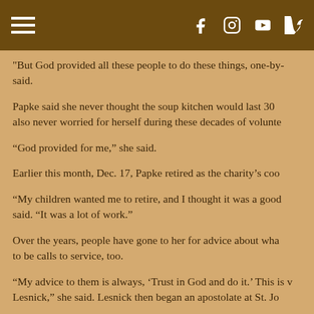[navigation bar with hamburger menu and social icons: f, instagram, youtube, vimeo]
"But God provided all these people to do these things, one-by- said.
Papke said she never thought the soup kitchen would last 30 also never worried for herself during these decades of volunte
“God provided for me,” she said.
Earlier this month, Dec. 17, Papke retired as the charity’s coo
“My children wanted me to retire, and I thought it was a good said. “It was a lot of work.”
Over the years, people have gone to her for advice about wha to be calls to service, too.
“My advice to them is always, ‘Trust in God and do it.’ This is v Lesnick,” she said. Lesnick then began an apostolate at St. Jo